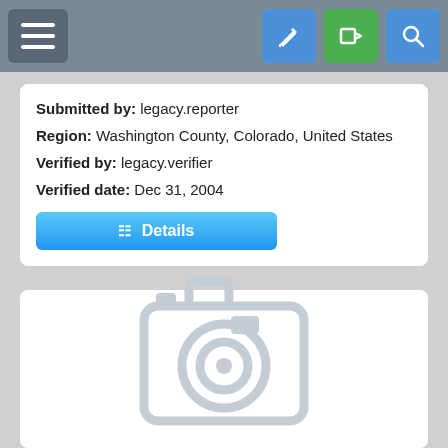Navigation bar with menu, edit, login, and search buttons
Submitted by: legacy.reporter
Region: Washington County, Colorado, United States
Verified by: legacy.verifier
Verified date: Dec 31, 2004
Details
[Figure (illustration): No image available placeholder with camera icon and text 'NO IMAGE AVAILABLE']